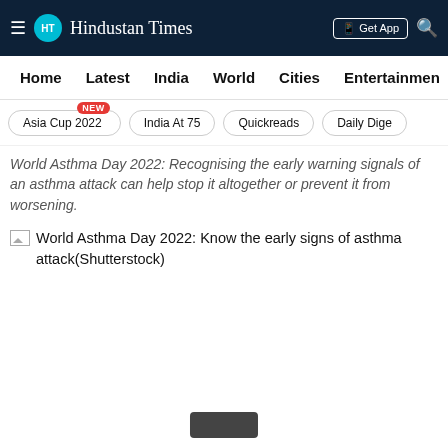Hindustan Times
Home  Latest  India  World  Cities  Entertainment
Asia Cup 2022 NEW
India At 75
Quickreads
Daily Dige
World Asthma Day 2022: Recognising the early warning signals of an asthma attack can help stop it altogether or prevent it from worsening.
World Asthma Day 2022: Know the early signs of asthma attack(Shutterstock)
[Figure (other): OPEN APP button (red, bottom right)]